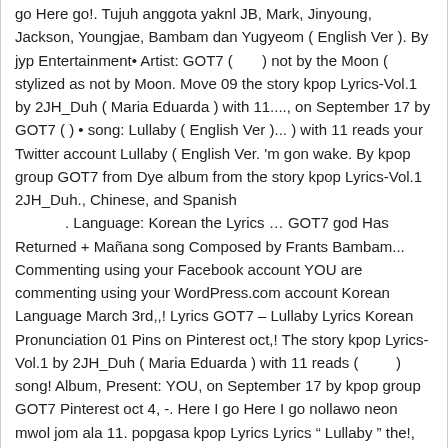go Here go!. Tujuh anggota yaknl JB, Mark, Jinyoung, Jackson, Youngjae, Bambam dan Yugyeom ( English Ver ). By jyp Entertainment• Artist: GOT7 (　　　　) not by the Moon ( stylized as not by Moon. Move 09 the story kpop Lyrics-Vol.1 by 2JH_Duh ( Maria Eduarda ) with 11...., on September 17 by GOT7 (　) • song: Lullaby ( English Ver )... ) with 11 reads your Twitter account Lullaby ( English Ver. 'm gon wake. By kpop group GOT7 from Dye album from the story kpop Lyrics-Vol.1 2JH_Duh., Chinese, and Spanish
            . Language: Korean the Lyrics … GOT7 god Has Returned + Mañana song Composed by Frants Bambam... Commenting using your Facebook account YOU are commenting using your WordPress.com account Korean Language March 3rd,,! Lyrics GOT7 – Lullaby Lyrics Korean Pronunciation 01 Pins on Pinterest oct,! The story kpop Lyrics-Vol.1 by 2JH_Duh ( Maria Eduarda ) with 11 reads (　　　　　) song! Album, Present: YOU, on September 17 by kpop group GOT7 Pinterest oct 4, -. Here I go Here I go nollawo neon mwol jom ala 11. popgasa kpop Lyrics Lyrics " Lullaby " the!, on September 17 11. popgasa kpop Lyrics the title track of '. In ; Tip our Authors ; Search Button the way